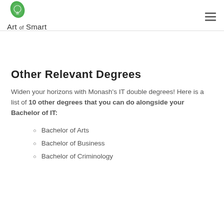Art of Smart
Other Relevant Degrees
Widen your horizons with Monash's IT double degrees! Here is a list of 10 other degrees that you can do alongside your Bachelor of IT:
Bachelor of Arts
Bachelor of Business
Bachelor of Criminology